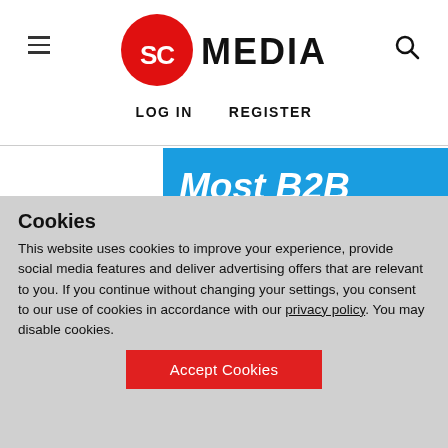SC MEDIA
[Figure (logo): SC Media logo — red circle with white 'SC' text, followed by 'MEDIA' in bold black text]
LOG IN   REGISTER
Most B2B buying decisions include data security considerations
Cookies
This website uses cookies to improve your experience, provide social media features and deliver advertising offers that are relevant to you. If you continue without changing your settings, you consent to our use of cookies in accordance with our privacy policy. You may disable cookies.
Accept Cookies